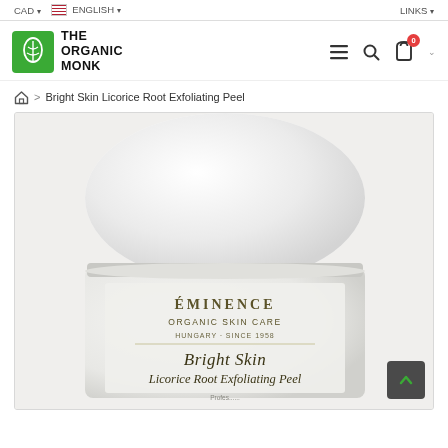CAD ▾   🇺🇸 ENGLISH ▾   LINKS ▾
[Figure (logo): The Organic Monk logo — green square icon with leaf/plant motif, bold text THE ORGANIC MONK]
Navigation icons: hamburger menu, search, shopping bag (0 items), chevron
Breadcrumb: Home > Bright Skin Licorice Root Exfoliating Peel
[Figure (photo): Product photo of Éminence Organic Skin Care Bright Skin Licorice Root Exfoliating Peel — white round jar with white lid, label reads: ÉMINENCE ORGANIC SKIN CARE HUNGARY · SINCE 1958 Bright Skin Licorice Root Exfoliating Peel]